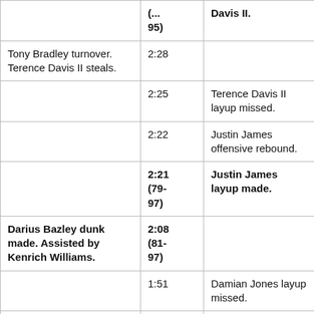| Team 1 | Time | Team 2 |
| --- | --- | --- |
| (... 95) |  | Davis II. |
| Tony Bradley turnover. Terence Davis II steals. | 2:28 |  |
|  | 2:25 | Terence Davis II layup missed. |
|  | 2:22 | Justin James offensive rebound. |
|  | 2:21 (79-97) | Justin James layup made. |
| Darius Bazley dunk made. Assisted by Kenrich Williams. | 2:08 (81-97) |  |
|  | 1:51 | Damian Jones layup missed. |
| Tony Bradley defensive rebound. | 1:48 |  |
| Aleksej Pokusevski | 1:46 |  |